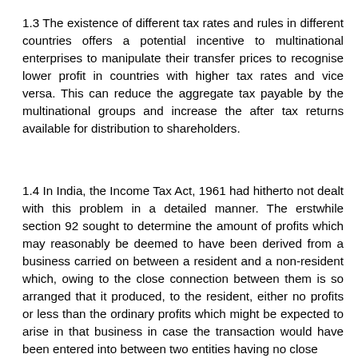1.3 The existence of different tax rates and rules in different countries offers a potential incentive to multinational enterprises to manipulate their transfer prices to recognise lower profit in countries with higher tax rates and vice versa. This can reduce the aggregate tax payable by the multinational groups and increase the after tax returns available for distribution to shareholders.
1.4 In India, the Income Tax Act, 1961 had hitherto not dealt with this problem in a detailed manner. The erstwhile section 92 sought to determine the amount of profits which may reasonably be deemed to have been derived from a business carried on between a resident and a non-resident which, owing to the close connection between them is so arranged that it produced, to the resident, either no profits or less than the ordinary profits which might be expected to arise in that business in case the transaction would have been entered into between two entities having no close